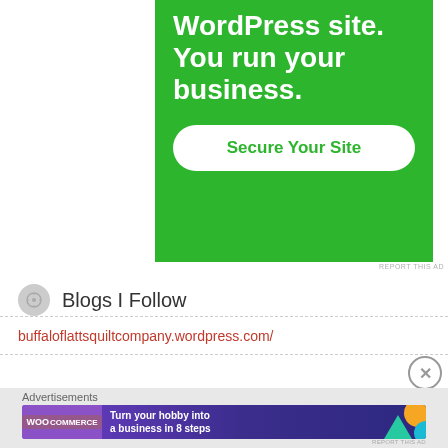[Figure (screenshot): Green WordPress advertisement banner with bold white text 'WordPress site. You run your business.' and a white button reading 'Secure Your Site']
REPORT THIS AD
Blogs I Follow
buffaloflattsquiltcompany.wordpress.com/
Advertisements
[Figure (screenshot): WooCommerce advertisement banner: purple background with WooCommerce logo and text 'Turn your hobby into a business in 8 steps', colorful geometric shapes on right]